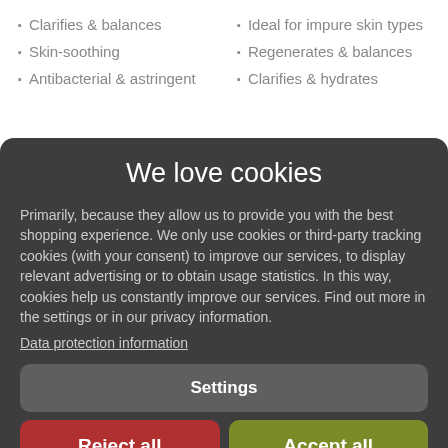Clarifies & balances
Ideal for impure skin types
Skin-soothing
Regenerates & balances
Antibacterial & astringent
Clarifies & hydrates
We love cookies
Primarily, because they allow us to provide you with the best shopping experience. We only use cookies or third-party tracking cookies (with your consent) to improve our services, to display relevant advertising or to obtain usage statistics. In this way, cookies help us constantly improve our services. Find out more in the settings or in our privacy information.
Data protection information
Settings
Reject all
Accept all